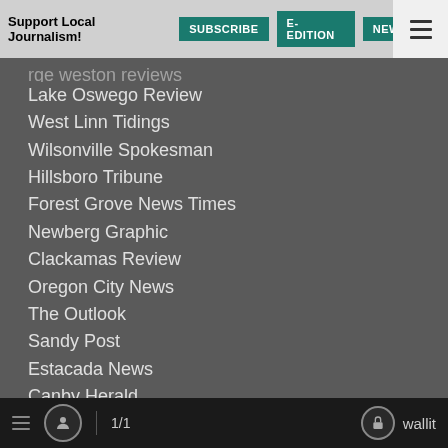Support Local Journalism! SUBSCRIBE E-EDITION NEWSLETTER
[partially visible item]
Lake Oswego Review
West Linn Tidings
Wilsonville Spokesman
Hillsboro Tribune
Forest Grove News Times
Newberg Graphic
Clackamas Review
Oregon City News
The Outlook
Sandy Post
Estacada News
Canby Herald
Woodburn Independent
Molalla Pioneer
Columbia County Spotlight
Regal Courier
Sherwood Gazette
The B[cut off]
1/1  wallit